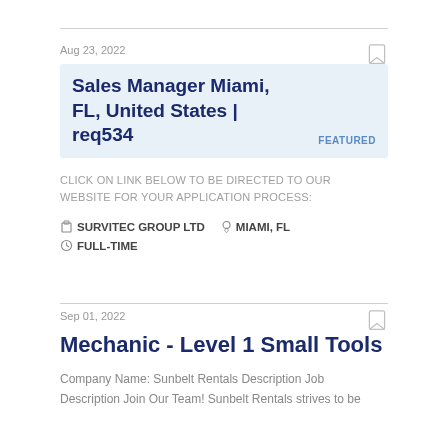Aug 23, 2022
Sales Manager Miami, FL, United States | req534
FEATURED
CLICK ON LINK BELOW TO BE DIRECTED TO OUR WEBSITE FOR YOUR APPLICATION PROCESS:
SURVITEC GROUP LTD   MIAMI, FL   FULL-TIME
Sep 01, 2022
Mechanic - Level 1 Small Tools
Company Name: Sunbelt Rentals Description Job Description Join Our Team! Sunbelt Rentals strives to be